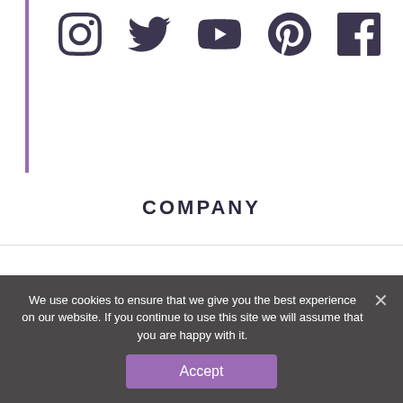[Figure (illustration): Row of five social media icons: Instagram, Twitter, YouTube, Pinterest, Facebook]
COMPANY
About Ticket To Fun
FAQ's
Cruise Travel Tips
SUPPORT
We use cookies to ensure that we give you the best experience on our website. If you continue to use this site we will assume that you are happy with it.
Accept